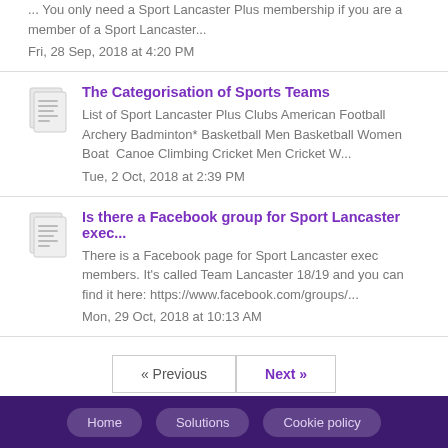... You only need a Sport Lancaster Plus membership if you are a member of a Sport Lancaster...
Fri, 28 Sep, 2018 at 4:20 PM
The Categorisation of Sports Teams
List of Sport Lancaster Plus Clubs American Football Archery Badminton* Basketball Men Basketball Women Boat  Canoe Climbing Cricket Men Cricket W...
Tue, 2 Oct, 2018 at 2:39 PM
Is there a Facebook group for Sport Lancaster exec...
There is a Facebook page for Sport Lancaster exec members. It's called Team Lancaster 18/19 and you can find it here: https://www.facebook.com/groups/...
Mon, 29 Oct, 2018 at 10:13 AM
« Previous  Next »
Home  Solutions  Cookie policy